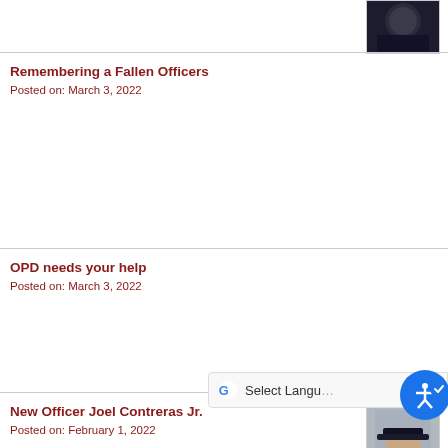[Figure (photo): Partial view of a police officer in dark uniform, cropped at top of page]
Remembering a Fallen Officers
Posted on: March 3, 2022
OPD needs your help
Posted on: March 3, 2022
New Officer Joel Contreras Jr.
Posted on: February 1, 2022
[Figure (photo): Photo of Officer Joel Contreras Jr. in police uniform with hat, smiling]
Chief's Youth Basketball Throwndown
Posted on: December 20, 2021
[Figure (photo): Basketball tournament poster - 4th Annual Basketball Tournament, dark background with basketball]
Robbery Homicide Detective - Hispanic Heritage Mo...
Posted on: October 11, 2021